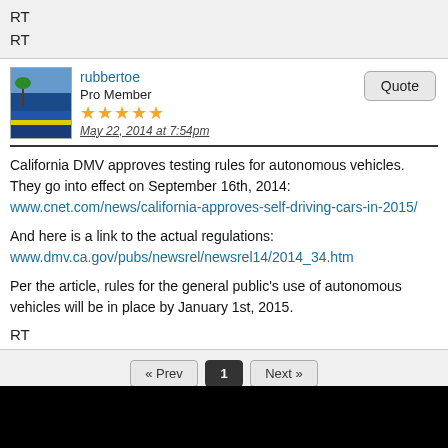RT
RT
rubbertoe
Pro Member
May 22, 2014 at 7:54pm
California DMV approves testing rules for autonomous vehicles. They go into effect on September 16th, 2014:
www.cnet.com/news/california-approves-self-driving-cars-in-2015/

And here is a link to the actual regulations:
www.dmv.ca.gov/pubs/newsrel/newsrel14/2014_34.htm

Per the article, rules for the general public's use of autonomous vehicles will be in place by January 1st, 2015.
RT
« Prev  1  Next »
Back To Topics